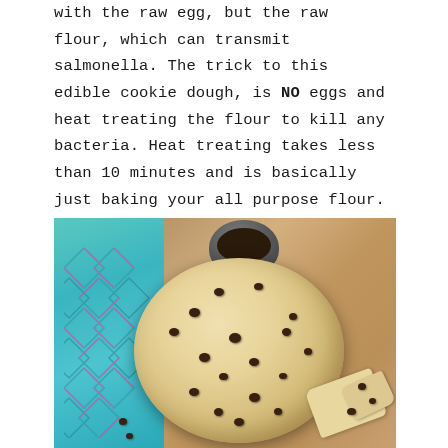with the raw egg, but the raw flour, which can transmit salmonella. The trick to this edible cookie dough, is NO eggs and heat treating the flour to kill any bacteria. Heat treating takes less than 10 minutes and is basically just baking your all purpose flour. This way we can enjoy cookie dough without the concerns of bacteria.
[Figure (photo): Overhead view of a bowl of edible chocolate chip cookie dough on a wooden surface, with a teal patterned cloth on the left, a small bowl of chocolate chips in the top background, and broken pieces of cookie/cracker in the bottom right.]